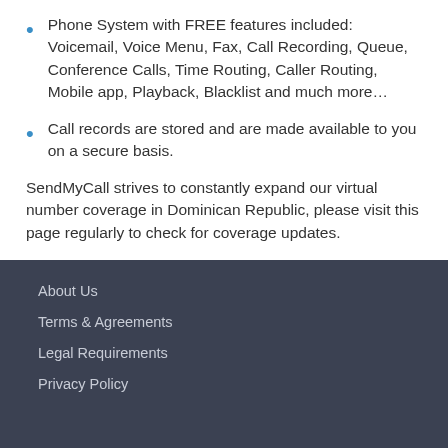Phone System with FREE features included: Voicemail, Voice Menu, Fax, Call Recording, Queue, Conference Calls, Time Routing, Caller Routing, Mobile app, Playback, Blacklist and much more…
Call records are stored and are made available to you on a secure basis.
SendMyCall strives to constantly expand our virtual number coverage in Dominican Republic, please visit this page regularly to check for coverage updates.
About Us
Terms & Agreements
Legal Requirements
Privacy Policy